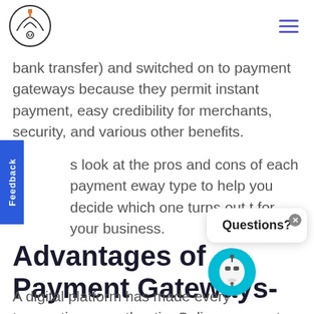Logo and navigation menu
bank transfer) and switched on to payment gateways because they permit instant payment, easy credibility for merchants, security, and various other benefits.
s look at the pros and cons of each payment eway type to help you decide which one turns out t for your business.
Advantages of Payment Gateways-
A digital platform has made every transaction qu authentic. Online payments have improved the ove